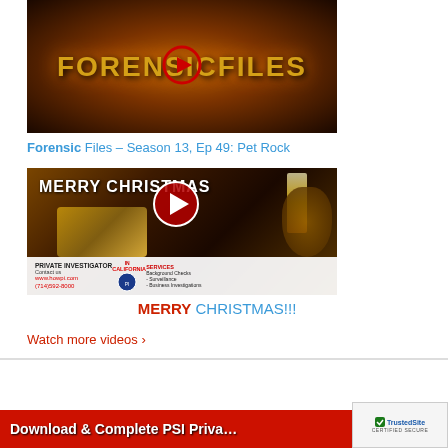[Figure (screenshot): Forensic Files TV show thumbnail with orange/dark background and golden text reading FORENSIC FILES with a play button overlay]
Forensic Files – Season 13, Ep 49: Pet Rock
[Figure (screenshot): Merry Christmas video thumbnail showing candles, pine cones, gold gifts and MERRY CHRISTMAS text with play button. Lower portion shows a Private Investigator ad for howpi.com (714)592-8000 offering Background Checks, Surveillance, Business Investigations in California]
MERRY CHRISTMAS!!!
Watch more videos ›
Download & Complete PSI Priva…
[Figure (logo): TrustedSite Certified Secure badge with green checkmark]